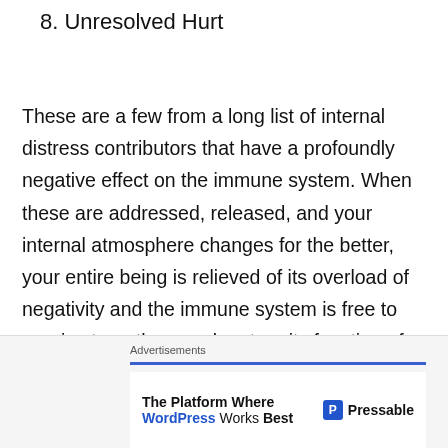8. Unresolved Hurt
These are a few from a long list of internal distress contributors that have a profoundly negative effect on the immune system. When these are addressed, released, and your internal atmosphere changes for the better, your entire being is relieved of its overload of negativity and the immune system is free to repair, strengthen, and restore its function of protecting you and keeping viruses from intruding on your body.